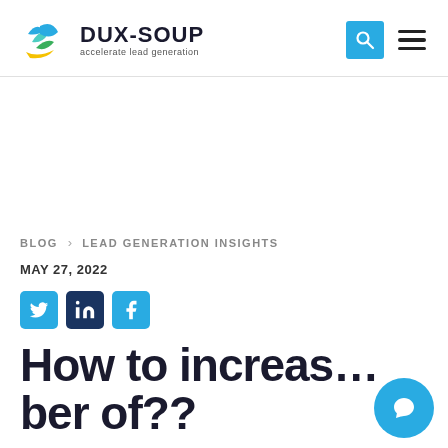DUX-SOUP accelerate lead generation
BLOG > LEAD GENERATION INSIGHTS
MAY 27, 2022
[Figure (infographic): Social share buttons: Twitter (blue), LinkedIn (dark blue), Facebook (blue)]
How to increas…